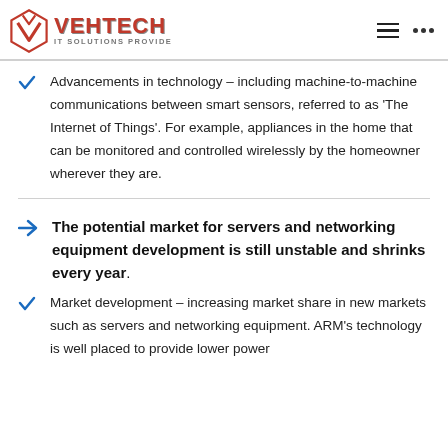VEHTECH IT SOLUTIONS PROVIDE
Advancements in technology – including machine-to-machine communications between smart sensors, referred to as 'The Internet of Things'. For example, appliances in the home that can be monitored and controlled wirelessly by the homeowner wherever they are.
The potential market for servers and networking equipment development is still unstable and shrinks every year.
Market development – increasing market share in new markets such as servers and networking equipment. ARM's technology is well placed to provide lower power